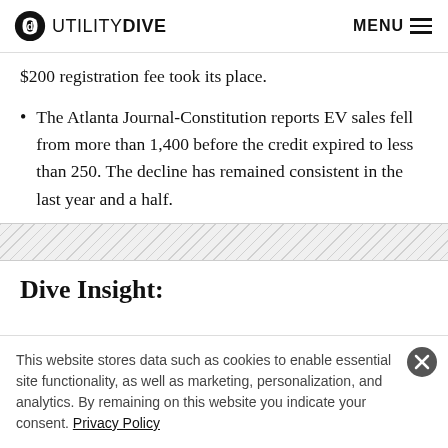UTILITY DIVE | MENU
$200 registration fee took its place.
The Atlanta Journal-Constitution reports EV sales fell from more than 1,400 before the credit expired to less than 250. The decline has remained consistent in the last year and a half.
Dive Insight:
This website stores data such as cookies to enable essential site functionality, as well as marketing, personalization, and analytics. By remaining on this website you indicate your consent. Privacy Policy